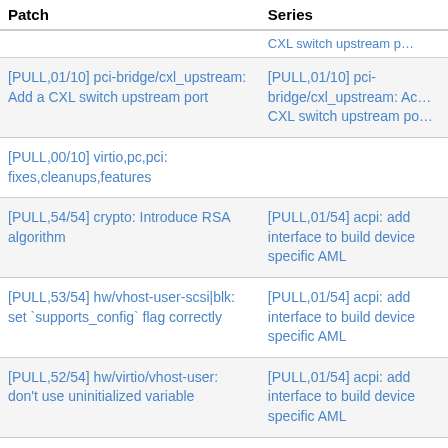| Patch | Series |
| --- | --- |
| [PULL,01/10] pci-bridge/cxl_upstream: Add a CXL switch upstream port | [PULL,01/10] pci-bridge/cxl_upstream: Add a CXL switch upstream port (truncated) |
| [PULL,00/10] virtio,pc,pci: fixes,cleanups,features |  |
| [PULL,54/54] crypto: Introduce RSA algorithm | [PULL,01/54] acpi: add interface to build device specific AML |
| [PULL,53/54] hw/vhost-user-scsi|blk: set `supports_config` flag correctly | [PULL,01/54] acpi: add interface to build device specific AML |
| [PULL,52/54] hw/virtio/vhost-user: don't use uninitialized variable | [PULL,01/54] acpi: add interface to build device specific AML |
| [PULL,51/54] tests/acpi: virt: update golden masters for VIOT | [PULL,01/54] acpi: add interface to build device specific AML |
| [PULL,50/54] hw/acpi/viot: sort VIOT ACPI table entries by PCI host bridge min_bus | [PULL,01/54] acpi: add interface to build device specific AML |